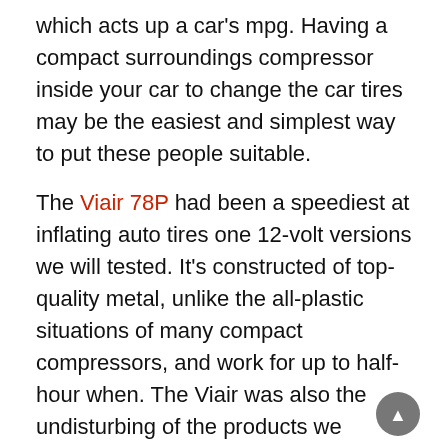which acts up a car's mpg. Having a compact surroundings compressor inside your car to change the car tires may be the easiest and simplest way to put these people suitable.
The Viair 78P had been a speediest at inflating auto tires one 12-volt versions we will tested. It's constructed of top-quality metal, unlike the all-plastic situations of many compact compressors, and work for up to half-hour when. The Viair was also the undisturbing of the products we tested. It includes a 45-inch region hose and a 16-foot power cord (that links to a car's 12-volt electric plug), to well come to any wheel for car or truck. A workplace illumination helps discover what people're working on through the night, and unlike countless compressors, it doesn't "walk around" regarding asphalt during usage. And also it is sold with a convenient carry bag. Her only problem is a maximum demand of 80 psi, which controls the 78P's energy with most some high-pressure vehicle and professional vehicle four tires.